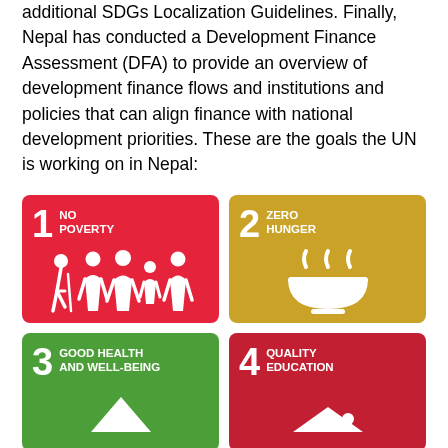additional SDGs Localization Guidelines. Finally, Nepal has conducted a Development Finance Assessment (DFA) to provide an overview of development finance flows and institutions and policies that can align finance with national development priorities. These are the goals the UN is working on in Nepal:
[Figure (infographic): SDG Goal 1 - No Poverty icon: red card with family silhouette icons]
[Figure (infographic): SDG Goal 2 - Zero Hunger icon: gold card with steaming bowl icon]
[Figure (infographic): SDG Goal 3 - Good Health and Well-Being icon: green card with partial view]
[Figure (infographic): SDG Goal 4 - Quality Education icon: red card with partial view]